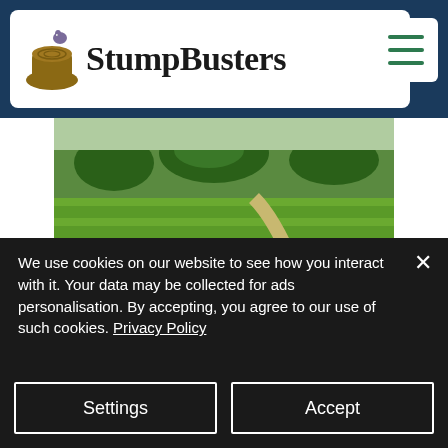StumpBusters
[Figure (photo): Aerial view of a lush green golf course with trees and a pathway]
Golf Courses
[Figure (photo): Yellow stump grinding machine next to a large tree stump with wood debris]
We use cookies on our website to see how you interact with it. Your data may be collected for ads personalisation. By accepting, you agree to our use of such cookies. Privacy Policy
Settings
Accept